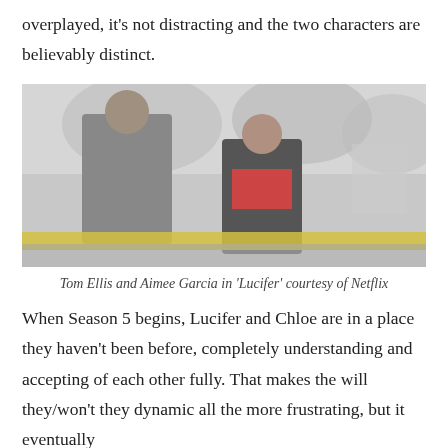overplayed, it's not distracting and the two characters are believably distinct.
[Figure (photo): Tom Ellis and Aimee Garcia standing together outdoors, with police tape in the foreground, from the TV show Lucifer on Netflix.]
Tom Ellis and Aimee Garcia in 'Lucifer' courtesy of Netflix
When Season 5 begins, Lucifer and Chloe are in a place they haven't been before, completely understanding and accepting of each other fully. That makes the will they/won't they dynamic all the more frustrating, but it eventually